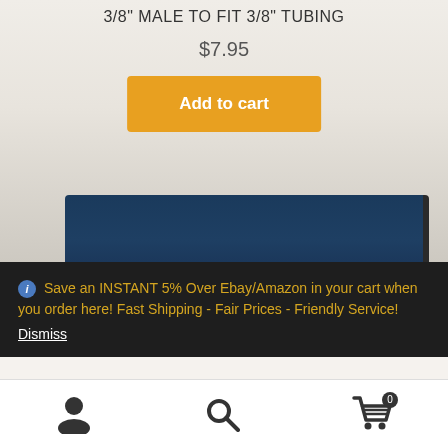3/8" MALE TO FIT 3/8" TUBING
$7.95
[Figure (screenshot): Add to cart button with amber/gold background and white bold text]
[Figure (photo): Product box photo showing top of a navy blue box with dark edge, blurred crowd background]
Save an INSTANT 5% Over Ebay/Amazon in your cart when you order here! Fast Shipping - Fair Prices - Friendly Service!
Dismiss
[Figure (infographic): Bottom navigation toolbar with user icon, search icon, and cart icon with badge showing 0]